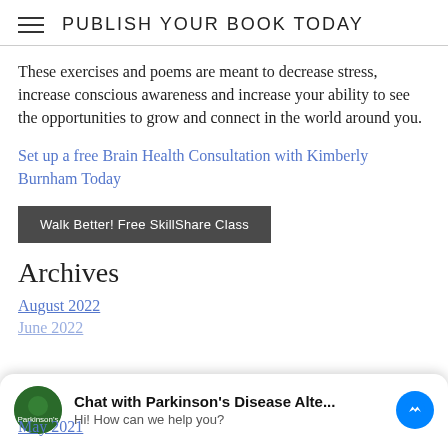PUBLISH YOUR BOOK TODAY
These exercises and poems are meant to decrease stress, increase conscious awareness and increase your ability to see the opportunities to grow and connect in the world around you.
Set up a free Brain Health Consultation with Kimberly Burnham Today
[Figure (other): Dark grey button labeled 'Walk Better! Free SkillShare Class']
Archives
August 2022
June 2022
[Figure (other): Chat widget: avatar with green circular logo, bold text 'Chat with Parkinson's Disease Alte...' and subtitle 'Hi! How can we help you?' with blue Messenger icon]
May 2021